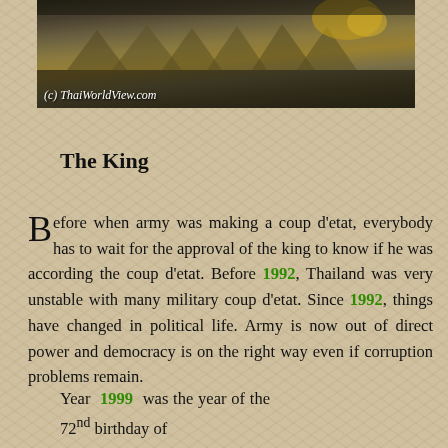[Figure (photo): Outdoor scene, possibly tents or structures in a field, dark/warm tones]
(c) ThaiWorldView.com
The King
Before when army was making a coup d'etat, everybody has to wait for the approval of the king to know if he was according the coup d'etat. Before 1992, Thailand was very unstable with many military coup d'etat. Since 1992, things have changed in political life. Army is now out of direct power and democracy is on the right way even if corruption problems remain.
Year 1999 was the year of the 72nd birthday of